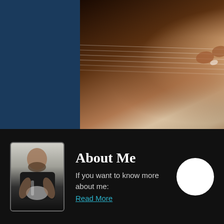[Figure (photo): Close-up photo of hands playing guitar on frets/strings]
How To Switch Between Chords Fast | Five Trick…
[Figure (illustration): Heart/like icon outline in red/coral color]
[Figure (illustration): Pagination dots: first dot active (teal), two inactive (grey)]
[Figure (photo): Photo of a man with beard holding a white electric guitar, wearing black t-shirt]
About Me
If you want to know more about me:
Read More